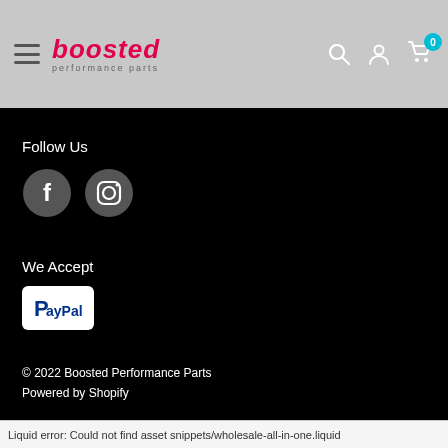boosted performance parts — navigation header with hamburger menu, search, account, and cart icons
Follow Us
[Figure (illustration): Facebook and Instagram social media icon buttons (dark grey circles with white icons)]
We Accept
[Figure (logo): PayPal payment button/logo on white rounded rectangle]
© 2022 Boosted Performance Parts
Powered by Shopify
Liquid error: Could not find asset snippets/wholesale-all-in-one.liquid